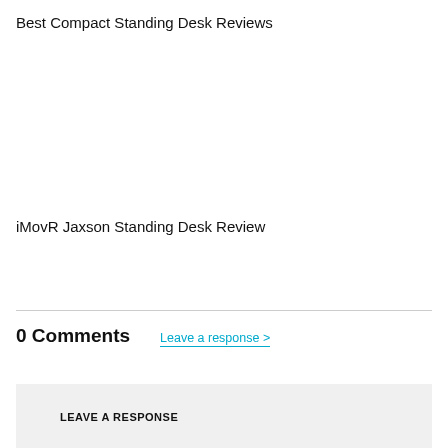Best Compact Standing Desk Reviews
iMovR Jaxson Standing Desk Review
0 Comments
Leave a response >
LEAVE A RESPONSE